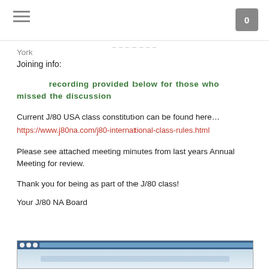☰  [navigation]  0 [cart]
York
Joining info:
recording provided below for those who missed the discussion
Current J/80 USA class constitution can be found here…
https://www.j80na.com/j80-international-class-rules.html
Please see attached meeting minutes from last years Annual Meeting for review.
Thank you for being as part of the J/80 class!
Your J/80 NA Board
[Figure (screenshot): Screenshot of a computer desktop with a browser window open, showing what appears to be the J/80 NA website or related page.]